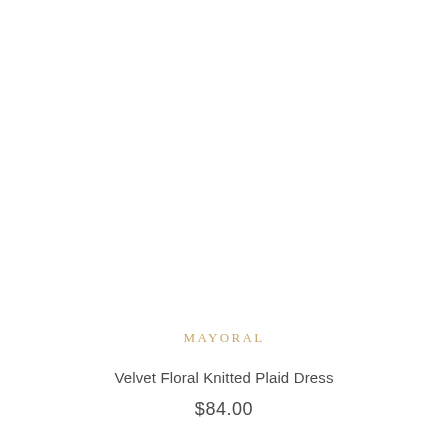[Figure (photo): Product photo area, white background with no visible product image]
MAYORAL
Velvet Floral Knitted Plaid Dress
$84.00